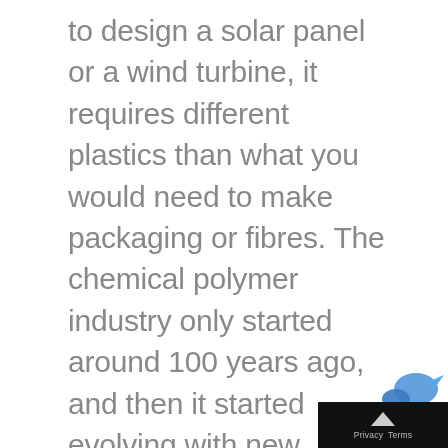to design a solar panel or a wind turbine, it requires different plastics than what you would need to make packaging or fibres. The chemical polymer industry only started around 100 years ago, and then it started evolving with new applications and new polymers for niche markets. So, I think it will also take a lot of time to develop different kinds of biopolymer materials for different kinds of purposes. In the UK, you have the supermarket Tesco. Their ideal world would probably be to simply have one type of biopolymer for everything so th